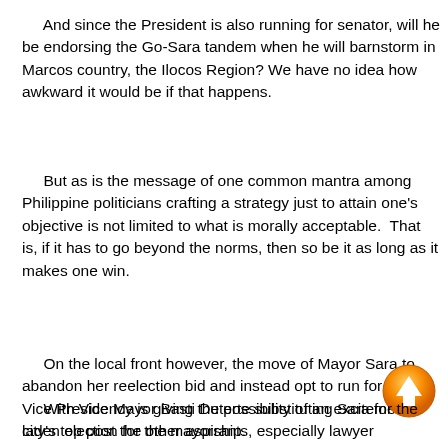And since the President is also running for senator, will he be endorsing the Go-Sara tandem when he will barnstorm in Marcos country, the Ilocos Region? We have no idea how awkward it would be if that happens.
But as is the message of one common mantra among Philippine politicians crafting a strategy just to attain one's objective is not limited to what is morally acceptable. That is, if it has to go beyond the norms, then so be it as long as it makes one win.
On the local front however, the move of Mayor Sara to abandon her reelection bid and instead opt to run for the Vice Presidency is giving the possibility of an excitement-laden election for the mayorship.
[Figure (other): Orange circular scroll-up button with white upward arrow]
With Vice Mayor Basti Duterte substituting Sara for the city's top post the other aspirants, especially lawyer